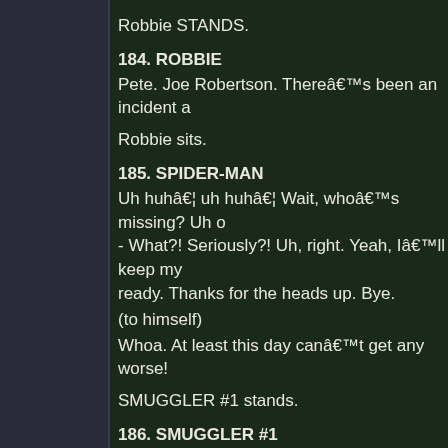Robbie STANDS.
184. ROBBIE
Pete. Joe Robertson. There’s been an incident a
Robbie sits.
185. SPIDER-MAN
Uh huh… uh huh… Wait, who’s missing? Uh o - What?! Seriously?! Uh, right. Yeah, I’ll keep my ready. Thanks for the heads up. Bye.
(to himself)
Whoa. At least this day can’t get any worse!
SMUGGLER #1 stands.
186. SMUGGLER #1
What the hell are those things?!
187. SPIDER-MAN
When am I gonna learn not to say that out loud?
188. NARRATOR
Spidey swings down to find two men in a van being a Obsidiana and Zafiro…